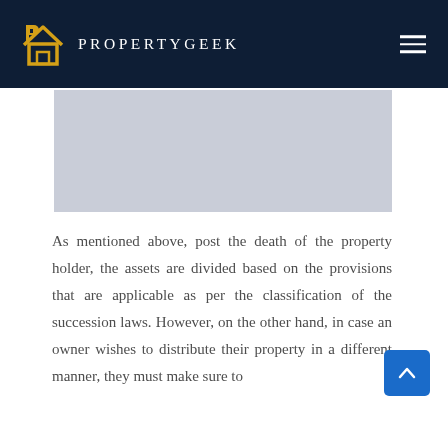[Figure (logo): PropertyGeek logo with golden house/key icon and white uppercase text PROPERTYGEEK on dark navy background header]
[Figure (photo): Gray placeholder image rectangle below header]
As mentioned above, post the death of the property holder, the assets are divided based on the provisions that are applicable as per the classification of the succession laws. However, on the other hand, in case an owner wishes to distribute their property in a different manner, they must make sure to